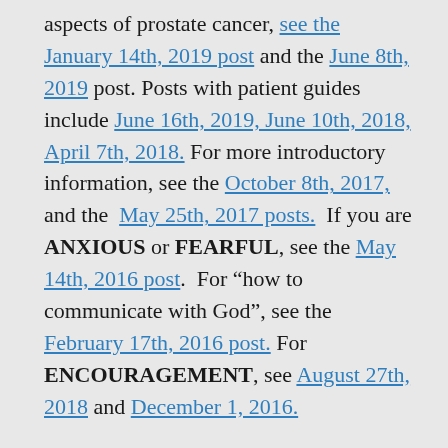aspects of prostate cancer, see the January 14th, 2019 post and the June 8th, 2019 post. Posts with patient guides include June 16th, 2019, June 10th, 2018, April 7th, 2018. For more introductory information, see the October 8th, 2017, and the May 25th, 2017 posts. If you are ANXIOUS or FEARFUL, see the May 14th, 2016 post. For "how to communicate with God", see the February 17th, 2016 post. For ENCOURAGEMENT, see August 27th, 2018 and December 1, 2016.
For updated recommendations on PSA screening, see the May 17th, 2018 and April 19th, 2017 posts. A cutting-edge review of IMMUNOTHERAPY, see June 30th, and July